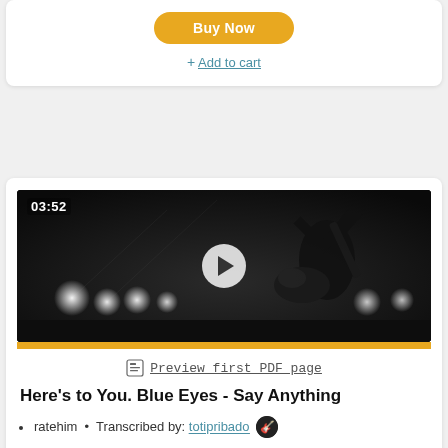Buy Now
+ Add to cart
[Figure (screenshot): Black and white concert photo showing a guitarist on stage with bright stage lights, duration 03:52, with a play button overlay and a gold progress bar at the bottom]
Preview first PDF page
Here's to You. Blue Eyes - Say Anything
ratehim  •  Transcribed by: totipribado 🎸
5 months ago  •  Custom Transcription
[Figure (infographic): Audio waveform player with orange play button on left and grey waveform bars on right]